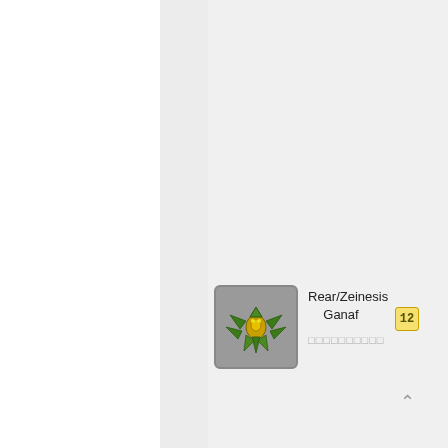[Figure (screenshot): Game UI screenshot showing a list entry with a creature/robot icon (green and gold insectoid mech on gray background), item name 'Rear/Zeinesis Ganaf', Japanese character subtitle in gray, a rank badge showing '12', and an up-arrow navigation button. The layout has multiple vertical columns with white and light gray backgrounds separated by thin lines.]